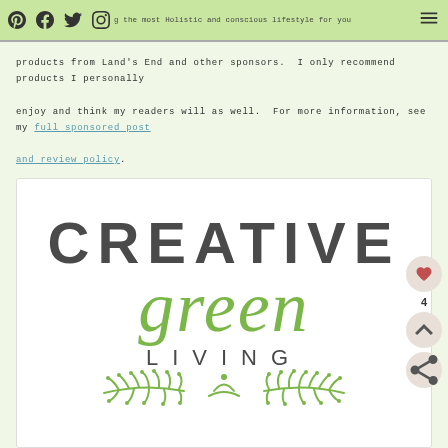Social icons (Pinterest, Facebook, Twitter, Instagram) and hamburger menu
products from Land's End and other sponsors. I only recommend products I personally enjoy and think my readers will as well. For more information, see my full sponsored post and review policy.
[Figure (logo): Creative Green Living logo — 'CREATIVE' in large dark gray block letters, 'green' in large cursive green script, 'LIVING' in spaced dark gray caps, decorative green leaf branches below]